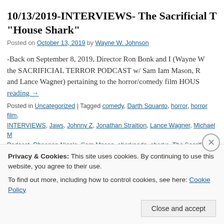10/13/2019-INTERVIEWS- The Sacrificial T... "House Shark"
Posted on October 13, 2019 by Wayne W. Johnson
-Back on September 8, 2019, Director Ron Bonk and I (Wayne W...) the SACRIFICIAL TERROR PODCAST w/ Sam Iam Mason, R... and Lance Wagner) pertaining to the horror/comedy film HOUS... reading →
Posted in Uncategorized | Tagged comedy, Darth Squanto, horror, horror film, INTERVIEWS, Jaws, Johnny Z, Jonathan Straition, Lance Wagner, Michael M, Podcast, Rheanon Nicole, Sam Mason, sharknado, sharks, The Sacrificial Te..., johnson, Wes Reid, WWJ, zombie barbie | Leave a comment
Privacy & Cookies: This site uses cookies. By continuing to use this website, you agree to their use.
To find out more, including how to control cookies, see here: Cookie Policy